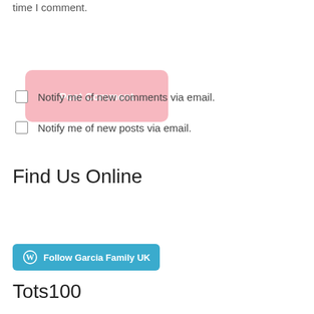time I comment.
[Figure (other): Pink rounded rectangle button labeled 'Post Comment']
Notify me of new comments via email.
Notify me of new posts via email.
Find Us Online
[Figure (other): Blue button with WordPress logo icon and text 'Follow Garcia Family UK']
Tots100